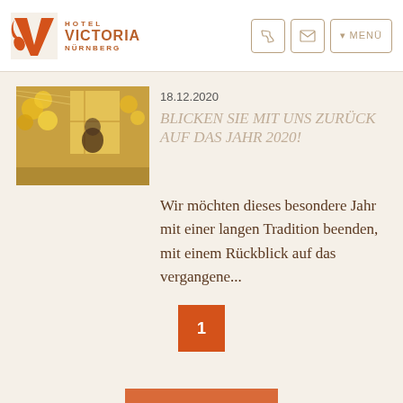Hotel Victoria Nürnberg
18.12.2020
BLICKEN SIE MIT UNS ZURÜCK AUF DAS JAHR 2020!
[Figure (photo): Interior hotel photo with golden balloons and warm lighting, person in background]
Wir möchten dieses besondere Jahr mit einer langen Tradition beenden, mit einem Rückblick auf das vergangene...
1